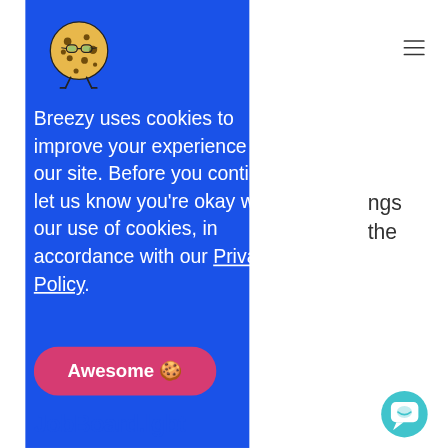[Figure (logo): Breezy HR cookie mascot logo — a round cookie character with glasses and legs on a blue background]
Breezy uses cookies to improve your experience on our site. Before you continue, let us know you're okay with our use of cookies, in accordance with our Privacy Policy.
[Figure (other): Pink/red rounded rectangle button labeled 'Awesome 🍪']
ngs
the
JobBoard.lgbt
[Figure (other): Teal circular chat/messaging button at bottom right]